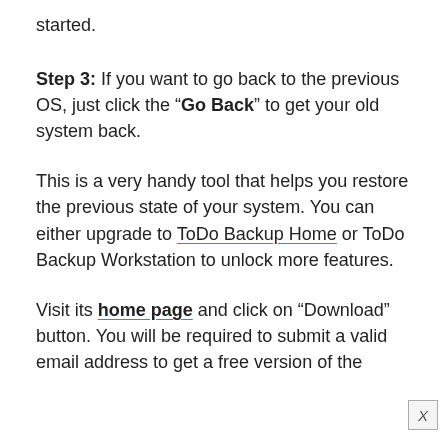started.
Step 3: If you want to go back to the previous OS, just click the “Go Back” to get your old system back.
This is a very handy tool that helps you restore the previous state of your system. You can either upgrade to ToDo Backup Home or ToDo Backup Workstation to unlock more features.
Visit its home page and click on “Download” button. You will be required to submit a valid email address to get a free version of the